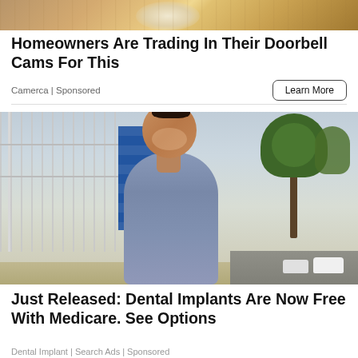[Figure (photo): Partial image of a doorbell camera or similar device against a sandy/stone background — cropped at top of page]
Homeowners Are Trading In Their Doorbell Cams For This
Camerca | Sponsored
Learn More
[Figure (photo): A smiling woman with dark hair in a bun, wearing a grey/blue fitted dress, standing on a sidewalk with trees, a fence, and a blue building in the background]
Just Released: Dental Implants Are Now Free With Medicare. See Options
Dental Implant | Search Ads | Sponsored